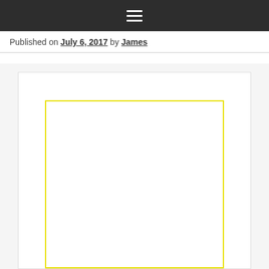≡
Published on July 6, 2017 by James
[Figure (other): Large white content area with a yellow border rectangle inside a light gray background panel]